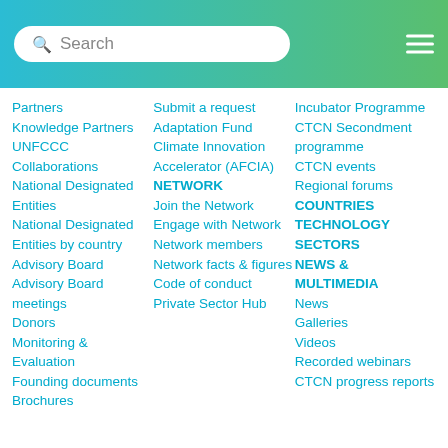[Figure (screenshot): Website header with search bar and hamburger menu on a teal-to-green gradient background]
Partners
Knowledge Partners
UNFCCC Collaborations
National Designated Entities
National Designated Entities by country
Advisory Board
Advisory Board meetings
Donors
Monitoring & Evaluation
Founding documents
Brochures
Submit a request
Adaptation Fund
Climate Innovation Accelerator (AFCIA)
NETWORK
Join the Network
Engage with Network
Network members
Network facts & figures
Code of conduct
Private Sector Hub
Incubator Programme
CTCN Secondment programme
CTCN events
Regional forums
COUNTRIES
TECHNOLOGY SECTORS
NEWS & MULTIMEDIA
News
Galleries
Videos
Recorded webinars
CTCN progress reports